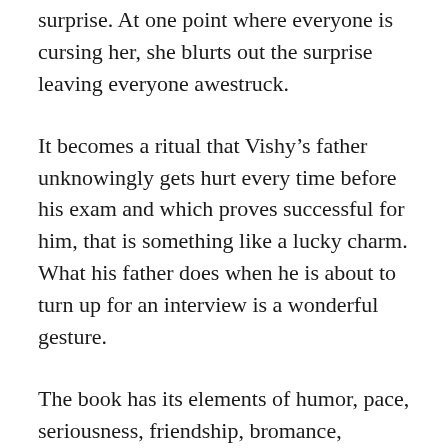surprise. At one point where everyone is cursing her, she blurts out the surprise leaving everyone awestruck.
It becomes a ritual that Vishy's father unknowingly gets hurt every time before his exam and which proves successful for him, that is something like a lucky charm. What his father does when he is about to turn up for an interview is a wonderful gesture.
The book has its elements of humor, pace, seriousness, friendship, bromance, romance and perseverance being portrayed in a beautiful manner. The characterization of everyone including the protagonist is etched to perfection. Vishy would now stand as an inspiration of person who had never